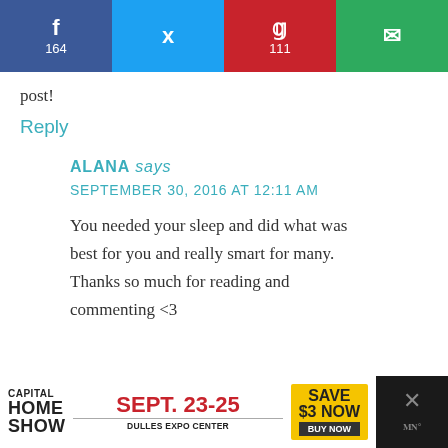[Figure (infographic): Social share bar with Facebook (164), Twitter, Pinterest (111), and Email buttons]
post!
Reply
ALANA says
SEPTEMBER 30, 2016 AT 12:11 AM
You needed your sleep and did what was best for you and really smart for many. Thanks so much for reading and commenting <3
[Figure (infographic): Capital Home Show advertisement - SEPT. 23-25, Dulles Expo Center, SAVE $3 NOW, BUY NOW]